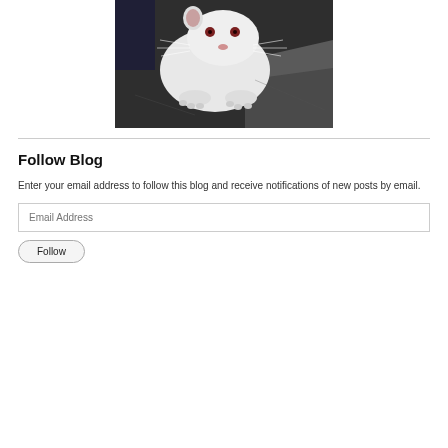[Figure (photo): A white rat with red eyes looking directly at the camera, standing on a dark surface, viewed from slightly above and in front.]
Follow Blog
Enter your email address to follow this blog and receive notifications of new posts by email.
Email Address
Follow